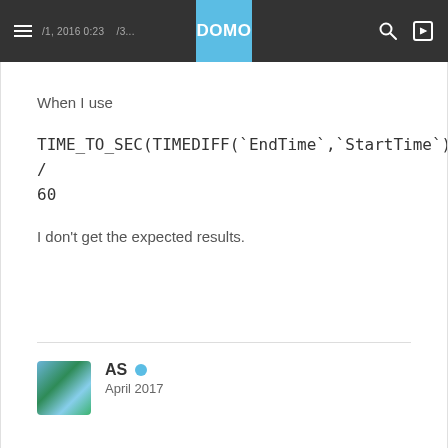DOMO navigation bar
When I use
I don't get the expected results.
AS
April 2017